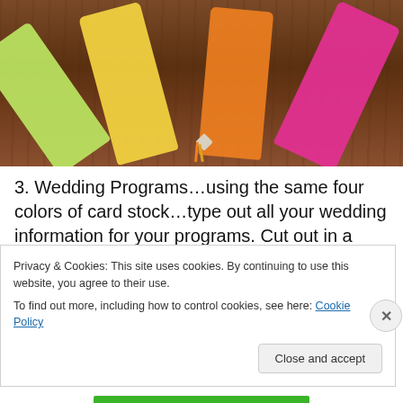[Figure (photo): Colorful fan-shaped wedding programs in green, yellow, orange, and pink/magenta card stock, spread out on a wooden surface, connected at the bottom with a brad and ribbon.]
3. Wedding Programs…using the same four colors of card stock…type out all your wedding information for your programs. Cut out in a desired shape. Use a brad to connect all four pieces together along with a thin
Privacy & Cookies: This site uses cookies. By continuing to use this website, you agree to their use.
To find out more, including how to control cookies, see here: Cookie Policy
Close and accept